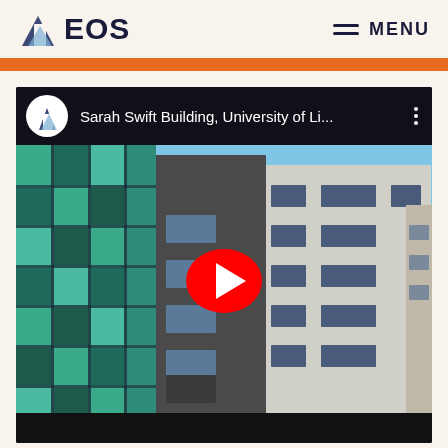EOS | MENU
[Figure (screenshot): YouTube video thumbnail for 'Sarah Swift Building, University of Li...' showing a modern multi-story building with teal/green glass facade panels on the left and gray concrete facade on the right, with a YouTube play button overlay in the center.]